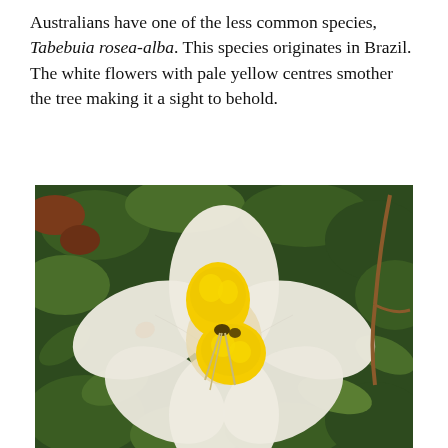Australians have one of the less common species, Tabebuia rosea-alba. This species originates in Brazil. The white flowers with pale yellow centres smother the tree making it a sight to behold.
[Figure (photo): Close-up photograph of a Tabebuia rosea-alba flower with large white ruffled petals and bright yellow centre, surrounded by green foliage.]